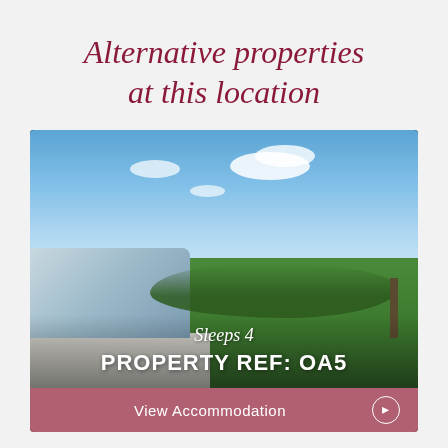Alternative properties at this location
[Figure (photo): Outdoor photo showing a hot tub/jacuzzi with a green countryside landscape and blue sky with clouds in the background. Overlaid text reads 'Sleeps 4' and 'PROPERTY REF: OA5'. A pink 'View Accommodation' button appears at the bottom.]